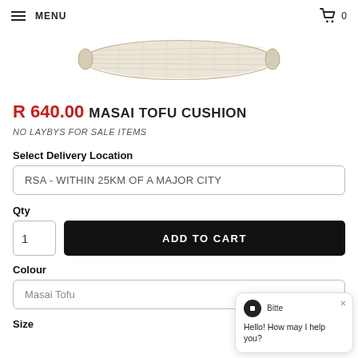MENU  0
[Figure (photo): A beige/cream woven fabric cushion, elongated, photographed on a white background]
R 640.00 MASAI TOFU CUSHION
NO LAYBYS FOR SALE ITEMS
Select Delivery Location
RSA - WITHIN 25KM OF A MAJOR CITY
Qty
1
ADD TO CART
Colour
Masai Tofu
Size